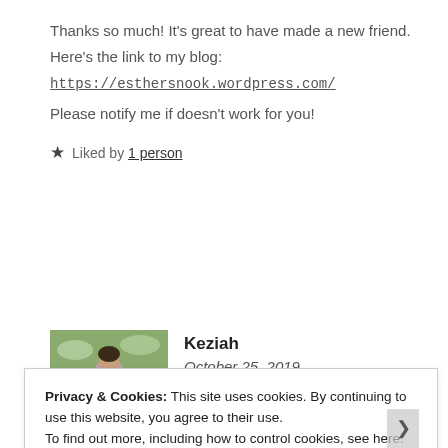Thanks so much! It's great to have made a new friend. Here's the link to my blog:
https://esthersnook.wordpress.com/
Please notify me if doesn't work for you!
★ Liked by 1 person
Keziah
October 25, 2019
Privacy & Cookies: This site uses cookies. By continuing to use this website, you agree to their use.
To find out more, including how to control cookies, see here: Cookie Policy
Close and accept